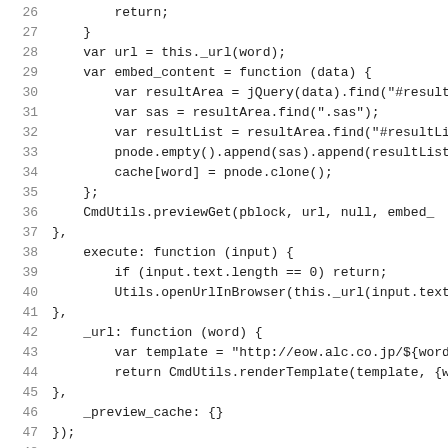Code listing lines 26-48, JavaScript source code
26        return;
27        }
28        var url = this._url(word);
29        var embed_content = function (data) {
30            var resultArea = jQuery(data).find("#result.
31            var sas = resultArea.find(".sas");
32            var resultList = resultArea.find("#resultLi
33            pnode.empty().append(sas).append(resultList
34            cache[word] = pnode.clone();
35        };
36        CmdUtils.previewGet(pblock, url, null, embed_
37    },
38    execute: function (input) {
39        if (input.text.length == 0) return;
40        Utils.openUrlInBrowser(this._url(input.text))
41    },
42    _url: function (word) {
43        var template = "http://eow.alc.co.jp/${word}/
44        return CmdUtils.renderTemplate(template, {wor
45    },
46    _preview_cache: {}
47 });
48